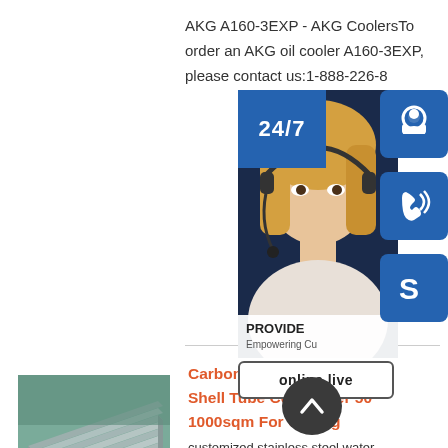AKG A160-3EXP - AKG CoolersTo order an AKG oil cooler A160-3EXP, please contact us:1-888-226-8
Reply
[Figure (photo): Product photo showing stacked metal plates/sheets in an industrial warehouse setting]
Carbon Steel Sta Steel Ti Shell Tube Condenser 50 1000sqm For Coking
customized stainless steel water
[Figure (infographic): Overlay widget showing a customer service representative with 24/7 label, headset icon, phone icon, Skype icon, PROVIDE Empowering Customers branding, and online live button]